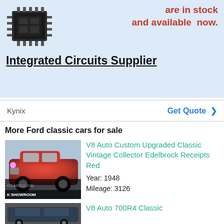[Figure (photo): Integrated circuit chip image on light blue advertisement banner background with red bold text 'are in stock and available now.']
Integrated Circuits Supplier
Kynix    Get Quote >
More Ford classic cars for sale
[Figure (photo): Red 1948 Ford classic car in showroom, with K SHOWROOM watermark at the bottom]
V8 Auto Custom Upgraded Classic Vintage Collector Edelbrock Receipts Red
Year: 1948
Mileage: 3126
[Figure (photo): Dark colored classic Ford car, partially visible]
V8 Auto 700R4 Classic